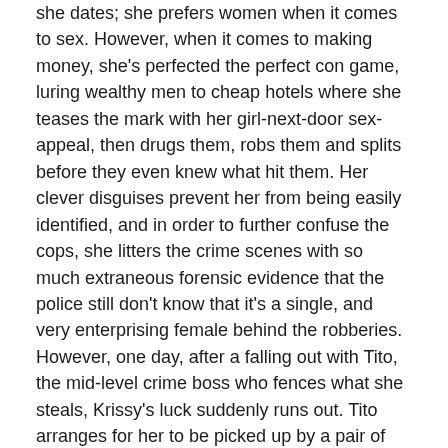she dates; she prefers women when it comes to sex. However, when it comes to making money, she's perfected the perfect con game, luring wealthy men to cheap hotels where she teases the mark with her girl-next-door sex-appeal, then drugs them, robs them and splits before they even knew what hit them. Her clever disguises prevent her from being easily identified, and in order to further confuse the cops, she litters the crime scenes with so much extraneous forensic evidence that the police still don't know that it's a single, and very enterprising female behind the robberies. However, one day, after a falling out with Tito, the mid-level crime boss who fences what she steals, Krissy's luck suddenly runs out. Tito arranges for her to be picked up by a pair of corrupt vice cops who know how to make pretty young women disappear. After being taken by the cops, she's turned over to a frightening older man who trains those 'disappeared' young women to be sex slaves for wealthy men all over the world. Even the shrewd Krissy is no match for the men who hold her captive. Whisked into a nightmare she's unable to stop, she's